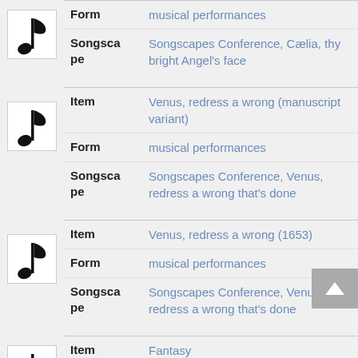|  | Field | Value |
| --- | --- | --- |
| [music note] | Form | musical performances |
|  | Songscape | Songscapes Conference, Cælia, thy bright Angel's face |
| [music note] | Item | Venus, redress a wrong (manuscript variant) |
|  | Form | musical performances |
|  | Songscape | Songscapes Conference, Venus, redress a wrong that's done |
| [music note] | Item | Venus, redress a wrong (1653) |
|  | Form | musical performances |
|  | Songscape | Songscapes Conference, Venus, redress a wrong that's done |
| [music note] | Item | Fantasy |